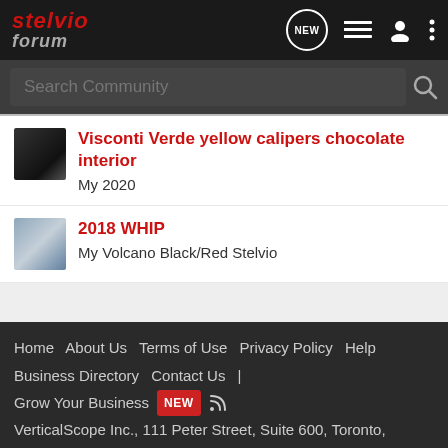stelvio forum
Visconti Verde yellow calipers chocolate interior
My 2020
2018 WHIP
My Volcano Black/Red Stelvio
< Showcase
Home  About Us  Terms of Use  Privacy Policy  Help  Business Directory  Contact Us  |  Grow Your Business  NEW  RSS
VerticalScope Inc., 111 Peter Street, Suite 600, Toronto,